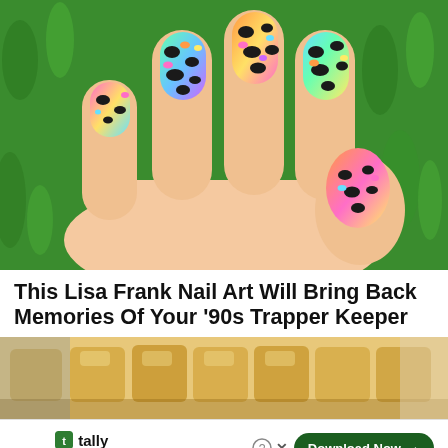[Figure (photo): Close-up photo of a hand with colorful Lisa Frank-style leopard print nail art on a grass background. Nails have rainbow gradient colors with black leopard spots and colorful dots.]
This Lisa Frank Nail Art Will Bring Back Memories Of Your '90s Trapper Keeper
[Figure (photo): Partial photo of golden baked pastries or biscuits on a tray, blurred background.]
tally Fast credit card payoff  Download Now →